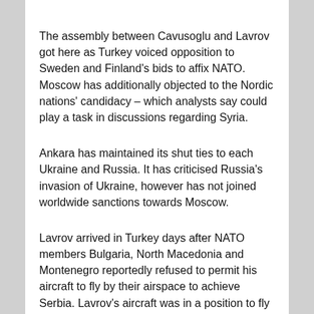The assembly between Cavusoglu and Lavrov got here as Turkey voiced opposition to Sweden and Finland's bids to affix NATO. Moscow has additionally objected to the Nordic nations' candidacy – which analysts say could play a task in discussions regarding Syria.
Ankara has maintained its shut ties to each Ukraine and Russia. It has criticised Russia's invasion of Ukraine, however has not joined worldwide sanctions towards Moscow.
Lavrov arrived in Turkey days after NATO members Bulgaria, North Macedonia and Montenegro reportedly refused to permit his aircraft to fly by their airspace to achieve Serbia. Lavrov's aircraft was in a position to fly on to Turkey over the Black Sea.
Talks have been additionally anticipated to concentrate on Turkey's plans to launch a brand new cross-border offensive in northern Syria towards Syrian Kurdish militia that...